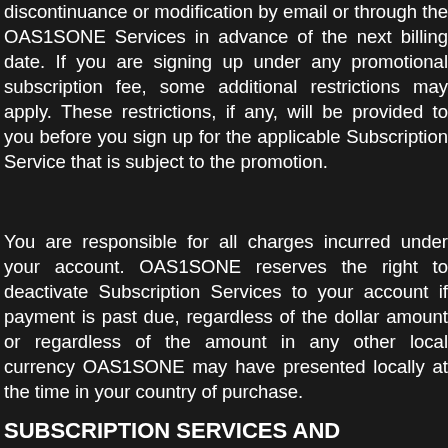discontinuance or modification by email or through the OAS1SONE Services in advance of the next billing date. If you are signing up under any promotional subscription fee, some additional restrictions may apply. These restrictions, if any, will be provided to you before you sign up for the applicable Subscription Service that is subject to the promotion.
You are responsible for all charges incurred under your account. OAS1SONE reserves the right to deactivate Subscription Services to your account if payment is past due, regardless of the dollar amount or regardless of the amount in any other local currency OAS1SONE may have presented locally at the time in your country of purchase.
SUBSCRIPTION SERVICES AND